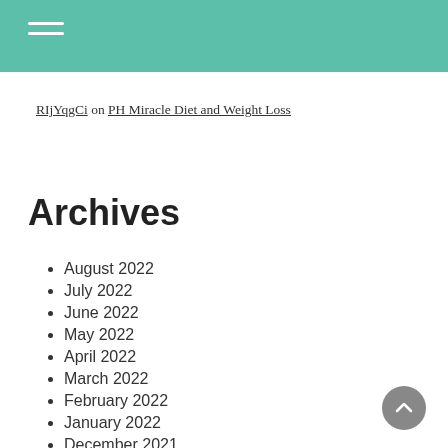Navigation menu header bar
RIjYqgCi on PH Miracle Diet and Weight Loss
Archives
August 2022
July 2022
June 2022
May 2022
April 2022
March 2022
February 2022
January 2022
December 2021
November 2021